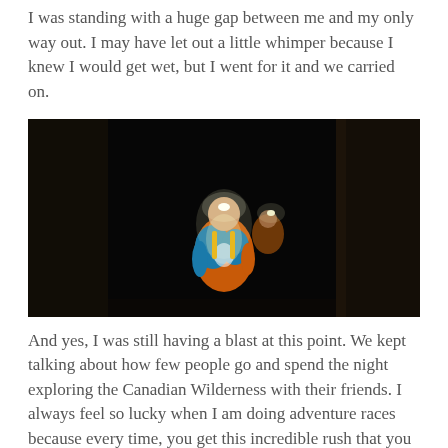I was standing with a huge gap between me and my only way out. I may have let out a little whimper because I knew I would get wet, but I went for it and we carried on.
[Figure (photo): Night-time photo of a trail runner wearing a headlamp and orange/blue running vest, navigating between two large dark tree trunks in complete darkness. A second runner with a headlamp is visible behind them.]
And yes, I was still having a blast at this point. We kept talking about how few people go and spend the night exploring the Canadian Wilderness with their friends. I always feel so lucky when I am doing adventure races because every time, you get this incredible rush that you